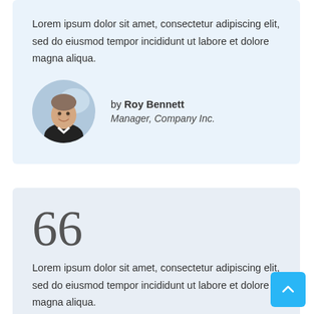Lorem ipsum dolor sit amet, consectetur adipiscing elit, sed do eiusmod tempor incididunt ut labore et dolore magna aliqua.
by Roy Bennett
Manager, Company Inc.
66
Lorem ipsum dolor sit amet, consectetur adipiscing elit, sed do eiusmod tempor incididunt ut labore et dolore magna aliqua.